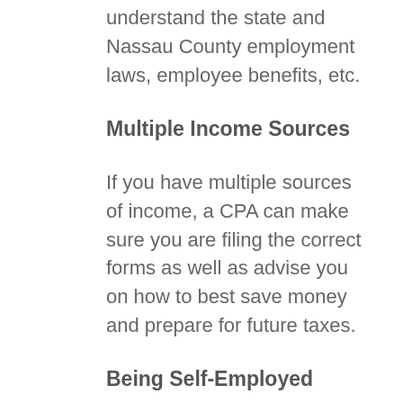understand the state and Nassau County employment laws, employee benefits, etc.
Multiple Income Sources
If you have multiple sources of income, a CPA can make sure you are filing the correct forms as well as advise you on how to best save money and prepare for future taxes.
Being Self-Employed
A trusted CPA can make sure you get all the benefits afforded to the self-employed and consult you on the proper financial planning of IRA's and 401K's. They will also advise you on any deductions you